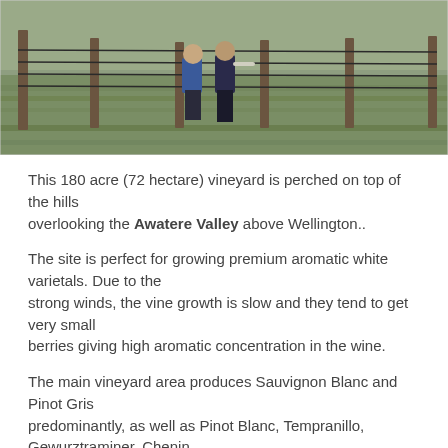[Figure (photo): Photo of a vineyard with fence posts and wires in the foreground, green grass, and two people visible in the background.]
This 180 acre (72 hectare) vineyard is perched on top of the hills overlooking the Awatere Valley above Wellington..
The site is perfect for growing premium aromatic white varietals. Due to the strong winds, the vine growth is slow and they tend to get very small berries giving high aromatic concentration in the wine.
The main vineyard area produces Sauvignon Blanc and Pinot Gris predominantly, as well as Pinot Blanc, Tempranillo, Gewurztraminer, Chenin